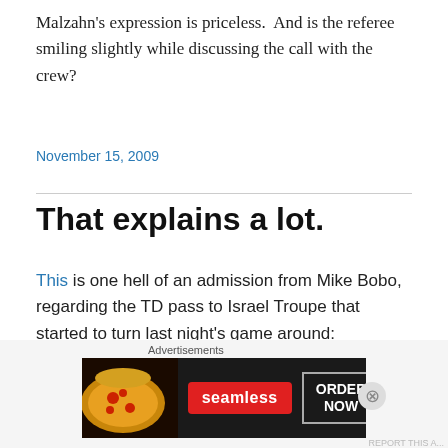Malzahn's expression is priceless.  And is the referee smiling slightly while discussing the call with the crew?
November 15, 2009
That explains a lot.
This is one hell of an admission from Mike Bobo, regarding the TD pass to Israel Troupe that started to turn last night's game around:
“I said ‘Hey, you’ve just got to be ready when the opportunity comes,” offensive coordinator Mike Bobo said.
[Figure (screenshot): Seamless food delivery advertisement banner with pizza image on left, red Seamless logo in center, and ORDER NOW button on right, on dark background]